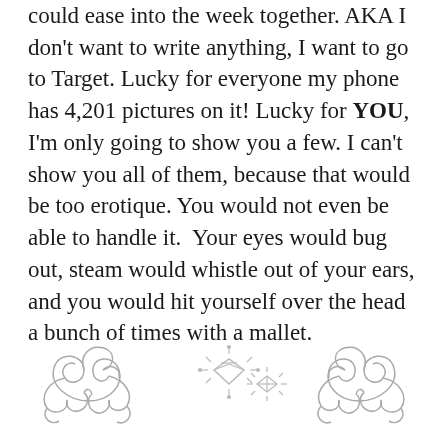could ease into the week together. AKA I don't want to write anything, I want to go to Target. Lucky for everyone my phone has 4,201 pictures on it! Lucky for YOU, I'm only going to show you a few. I can't show you all of them, because that would be too erotique. You would not even be able to handle it.  Your eyes would bug out, steam would whistle out of your ears, and you would hit yourself over the head a bunch of times with a mallet.
[Figure (illustration): Decorative ornamental divider with scroll flourishes on left and right, and a diamond/gem motif with radiating lines in the center]